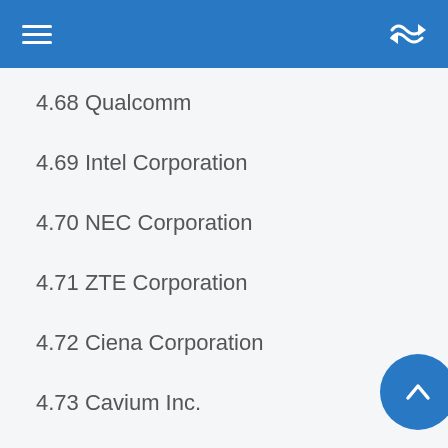Menu / Navigation bar with hamburger and shuffle icons
4.68 Qualcomm
4.69 Intel Corporation
4.70 NEC Corporation
4.71 ZTE Corporation
4.72 Ciena Corporation
4.73 Cavium Inc.
4.74 Qorvo Inc.
4.75 Fujitsu Ltd.